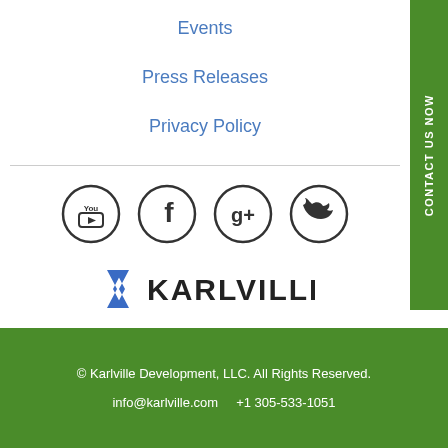Events
Press Releases
Privacy Policy
[Figure (infographic): Social media icons: YouTube, Facebook, Google+, Twitter — circular outlined icons in dark color]
[Figure (logo): Karlville logo with stylized K arrow icon in blue and the word KARLVILLE in bold dark text]
CONTACT US NOW
© Karlville Development, LLC. All Rights Reserved.
info@karlville.com    +1 305-533-1051